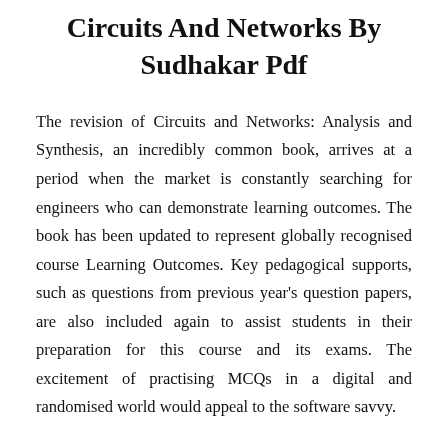Circuits And Networks By Sudhakar Pdf
The revision of Circuits and Networks: Analysis and Synthesis, an incredibly common book, arrives at a period when the market is constantly searching for engineers who can demonstrate learning outcomes. The book has been updated to represent globally recognised course Learning Outcomes. Key pedagogical supports, such as questions from previous year's question papers, are also included again to assist students in their preparation for this course and its exams. The excitement of practising MCQs in a digital and randomised world would appeal to the software savvy.